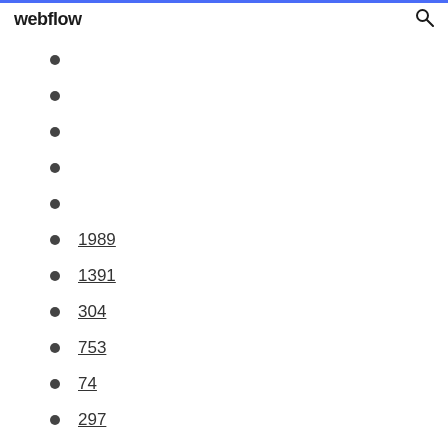webflow
1989
1391
304
753
74
297
299